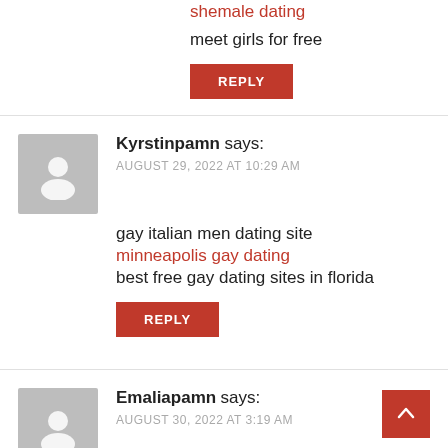shemale dating
meet girls for free
REPLY
Kyrstinpamn says:
AUGUST 29, 2022 AT 10:29 AM
gay italian men dating site
minneapolis gay dating
best free gay dating sites in florida
REPLY
Emaliapamn says:
AUGUST 30, 2022 AT 3:19 AM